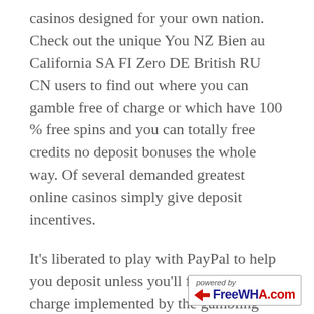casinos designed for your own nation. Check out the unique You NZ Bien au California SA FI Zero DE British RU CN users to find out where you can gamble free of charge or which have 100 % free spins and you can totally free credits no deposit bonuses the whole way. Of several demanded greatest online casinos simply give deposit incentives.
It's liberated to play with PayPal to help you deposit unless you'll find people charge implemented by the gambling enterprise by themselves, known as the 'deposit fee'. As well, you're charged a little percentage when withdrawing. One which just get started and utilizing PayPal on your own common local casino, your of course need create a merchant account with them. Generally, you need a merchant account in the PayPal which have
[Figure (logo): Powered by FreeWHA.com watermark logo in bottom right corner, with red arrow icon and blue/red brand text]